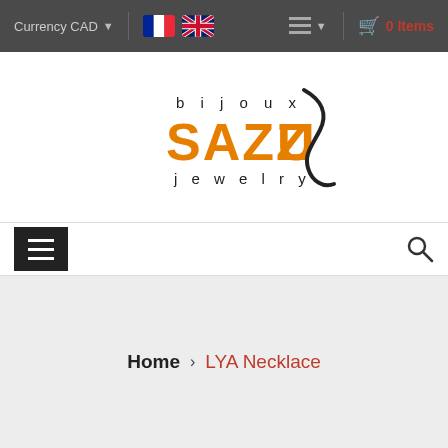Currency CAD | [French flag] [UK flag] | [grid icon] | 0 Items
[Figure (logo): Bijoux Sazzu Jewelry logo with orange SAZZU text, black bijoux and jewelry text, and decorative S-curl graphic element]
[Figure (other): Navigation bar with hamburger menu icon on left and search magnifier icon on right]
Home › LYA Necklace